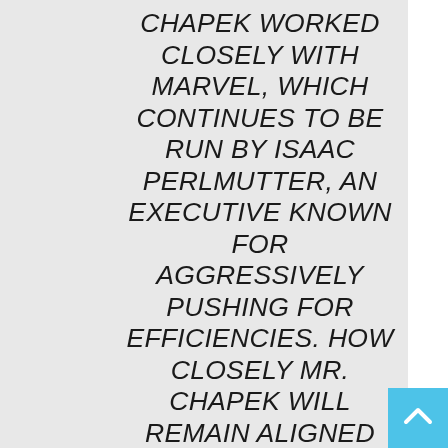CHAPEK WORKED CLOSELY WITH MARVEL, WHICH CONTINUES TO BE RUN BY ISAAC PERLMUTTER, AN EXECUTIVE KNOWN FOR AGGRESSIVELY PUSHING FOR EFFICIENCIES. HOW CLOSELY MR. CHAPEK WILL REMAIN ALIGNED WITH MR. PERLMUTTER IN HIS